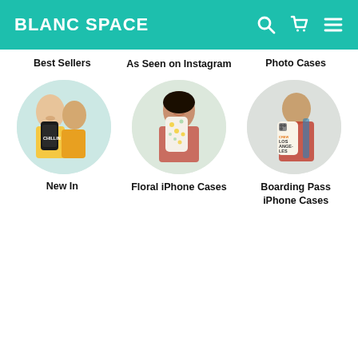BLANC SPACE
Best Sellers
As Seen on Instagram
Photo Cases
[Figure (photo): Circle photo of young people smiling, one holding a black phone case with 'CHILLIN' text]
[Figure (photo): Circle photo of a woman smiling and holding a floral patterned phone case]
[Figure (photo): Circle photo of a person holding a phone case with 'LOS ANGELES' boarding pass design]
New In
Floral iPhone Cases
Boarding Pass iPhone Cases